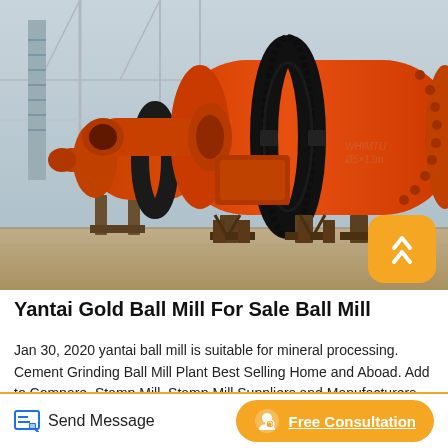[Figure (photo): Large orange industrial ball mill machines in a factory/warehouse setting. Two ball mills with large black gear rings visible, mounted on metal frames on a concrete floor. Industrial building structure visible in background.]
Yantai Gold Ball Mill For Sale Ball Mill
Jan 30, 2020 yantai ball mill is suitable for mineral processing. Cement Grinding Ball Mill Plant Best Selling Home and Aboad. Add to Compare. Stamp Mill. Stamp Mill Suppliers and Manufacturers
Send Message
Free Consultation